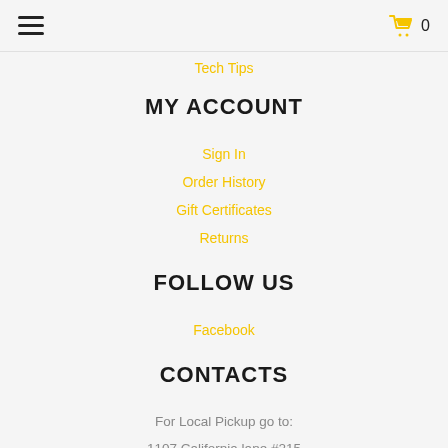☰  🛒 0
Tech Tips
MY ACCOUNT
Sign In
Order History
Gift Certificates
Returns
FOLLOW US
Facebook
CONTACTS
For Local Pickup go to:
1107 California lane #215
Arlington TX 76015